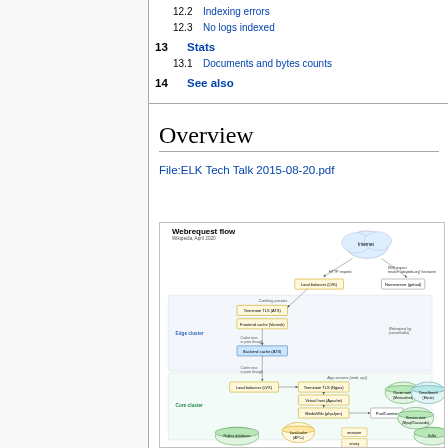12.2 Indexing errors
12.3 No logs indexed
13 Stats
13.1 Documents and bytes counts
14 See also
Overview
File:ELK Tech Talk 2015-08-20.pdf
[Figure (flowchart): Webrequest flow diagram for Wikipedia, April 2020. Shows Edge cluster and Core cluster components including Load balancer (LVS), Nameserver (gdnsd), Terminate TLS (ATS), Frontend cache (Varnish), Backend cache (ATS), App servers, Terminate TLS (Nginx), Virtual host (Apache), MediaWiki (php-fpm), PoolCounter, Cluster cache (Memcached), CirrusSearch (Elastic), Session store (Mysql/Cassandra), Local cache (APCu), mcrouter, envoy, and Replica databases.]